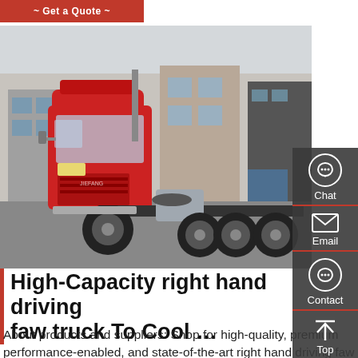[Figure (screenshot): Red 'Get a Quote' button at top left corner of the page]
[Figure (photo): A large red semi-truck (FAW brand tractor head) parked in a commercial yard with industrial buildings in the background. The truck faces left, showing its side profile with multiple rear axles.]
High-Capacity right hand driving faw truck To Cool …
About products and suppliers: Shop for high-quality, premium performance-enabled, and state-of-the-art right hand driving faw truck on Alibaba.com for all